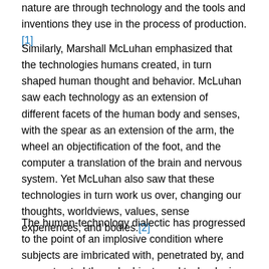nature are through technology and the tools and inventions they use in the process of production.[1]
Similarly, Marshall McLuhan emphasized that the technologies humans created, in turn shaped human thought and behavior. McLuhan saw each technology as an extension of different facets of the human body and senses, with the spear as an extension of the arm, the wheel an objectification of the foot, and the computer a translation of the brain and nervous system. Yet McLuhan also saw that these technologies in turn work us over, changing our thoughts, worldviews, values, sense experiences, and bodies.[2]
The human-technology dialectic has progressed to the point of an implosive condition where subjects are imbricated with, penetrated by, and reconstructed through objects and technologies. Given the dialectic theorized by